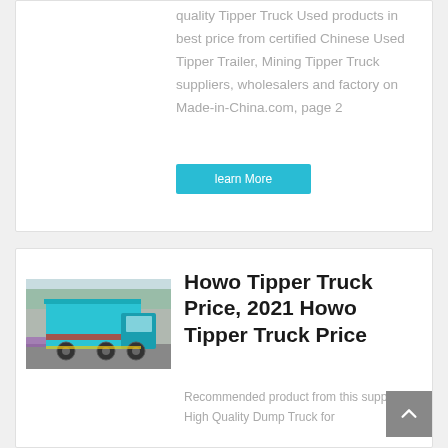quality Tipper Truck Used products in best price from certified Chinese Used Tipper Trailer, Mining Tipper Truck suppliers, wholesalers and factory on Made-in-China.com, page 2
learn More
[Figure (photo): Rear view of a teal/blue Howo tipper dump truck parked outdoors]
Howo Tipper Truck Price, 2021 Howo Tipper Truck Price
Recommended product from this supplier. High Quality Dump Truck for